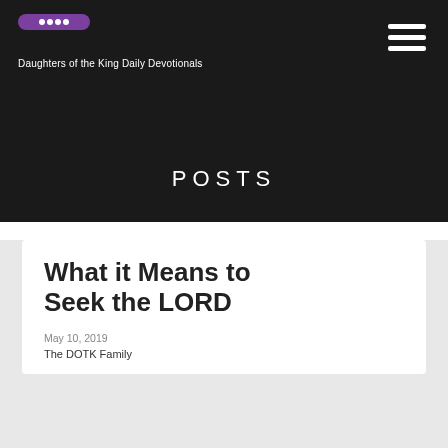Daughters of the King Daily Devotionals
POSTS
What it Means to Seek the LORD
May 10, 2019
The DOTK Family